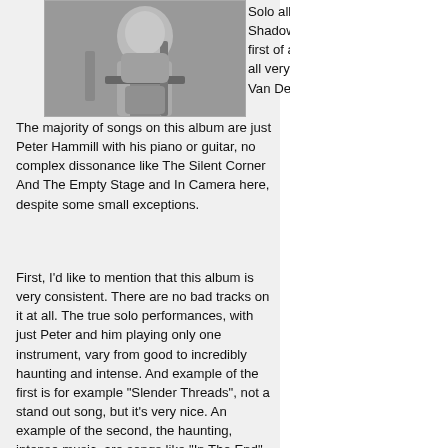[Figure (photo): Black and white photo of a musician playing guitar]
Solo album, Chameleon In The Shadow Of The Night is the first of a three classic albums, all very much in the sound of Van Der Graaf Generator. The majority of songs on this album are just Peter Hammill with his piano or guitar, no complex dissonance like The Silent Corner And The Empty Stage and In Camera here, despite some small exceptions.
First, I'd like to mention that this album is very consistent. There are no bad tracks on it at all. The true solo performances, with just Peter and him playing only one instrument, vary from good to incredibly haunting and intense. And example of the first is for example "Slender Threads", not a stand out song, but it's very nice. An example of the second, the haunting, intense music, are songs like "In The End", and the magnificent "Easy To Slip Away". Truly dark and astonishing